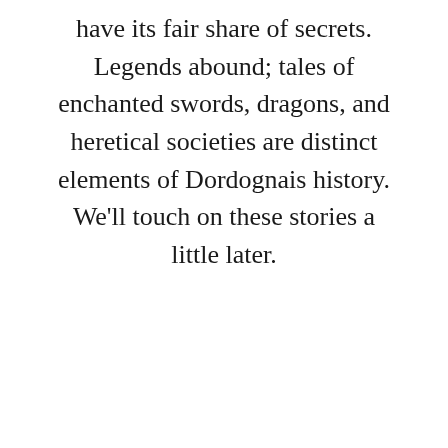have its fair share of secrets. Legends abound; tales of enchanted swords, dragons, and heretical societies are distinct elements of Dordognais history. We'll touch on these stories a little later.